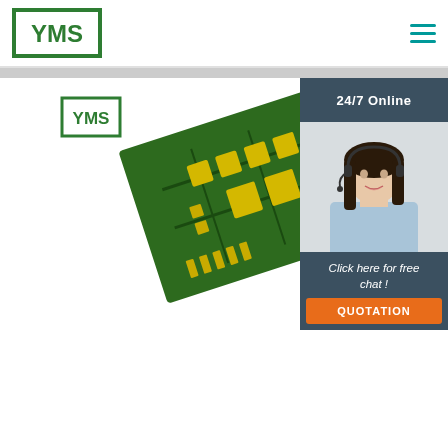[Figure (logo): YMS logo in header - green square border with YMS text in white]
[Figure (logo): Hamburger menu icon with three teal horizontal lines]
[Figure (logo): YMS logo small - green border with YMS text]
[Figure (photo): Close-up photo of a green PCB circuit board with yellow solder pads and components, shown at a diagonal angle]
[Figure (photo): Sidebar panel showing 24/7 Online text on dark header, photo of smiling woman with headset (customer support), and Click here for free chat! text with orange QUOTATION button]